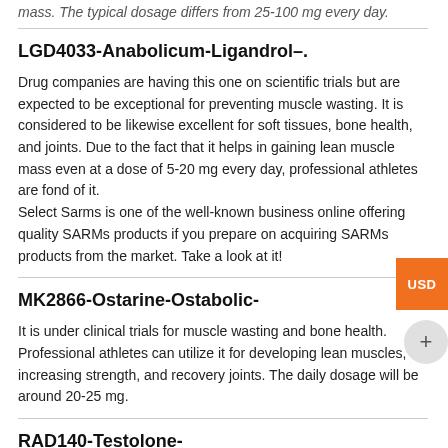mass. The typical dosage differs from 25-100 mg every day.
LGD4033-Anabolicum-Ligandrol–.
Drug companies are having this one on scientific trials but are expected to be exceptional for preventing muscle wasting. It is considered to be likewise excellent for soft tissues, bone health, and joints. Due to the fact that it helps in gaining lean muscle mass even at a dose of 5-20 mg every day, professional athletes are fond of it.
Select Sarms is one of the well-known business online offering quality SARMs products if you prepare on acquiring SARMs products from the market. Take a look at it!
MK2866-Ostarine-Ostabolic-
It is under clinical trials for muscle wasting and bone health. Professional athletes can utilize it for developing lean muscles, increasing strength, and recovery joints. The daily dosage will be around 20-25 mg.
RAD140-Testolone-